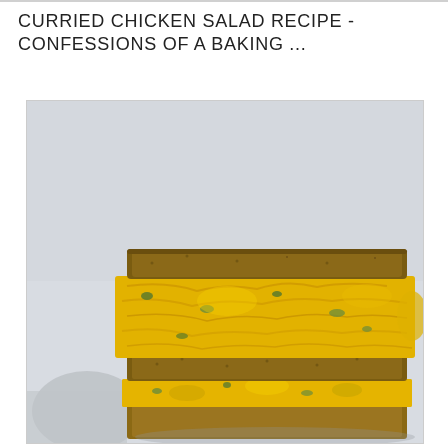CURRIED CHICKEN SALAD RECIPE - CONFESSIONS OF A BAKING ...
[Figure (photo): A stacked sandwich filled with curried chicken salad (bright yellow filling with green pieces visible) between slices of whole grain/brown bread, photographed against a light gray background. The sandwich is cut and stacked showing multiple layers of bread and generous curried chicken salad filling.]